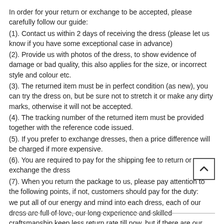In order for your return or exchange to be accepted, please carefully follow our guide:
(1). Contact us within 2 days of receiving the dress (please let us know if you have some exceptional case in advance)
(2). Provide us with photos of the dress, to show evidence of damage or bad quality, this also applies for the size, or incorrect style and colour etc.
(3). The returned item must be in perfect condition (as new), you can try the dress on, but be sure not to stretch it or make any dirty marks, otherwise it will not be accepted.
(4). The tracking number of the returned item must be provided together with the reference code issued.
(5). If you prefer to exchange dresses, then a price difference will be charged if more expensive.
(6). You are required to pay for the shipping fee to return or exchange the dress
(7). When you return the package to us, please pay attention to the following points, if not, customers should pay for the duty:
we put all of our energy and mind into each dress, each of our dress are full of love, our long experience and skilled craftsmanship keep less return rate till now, but if there are our problems, we could return all your payment, for more details, please see our FAQ.